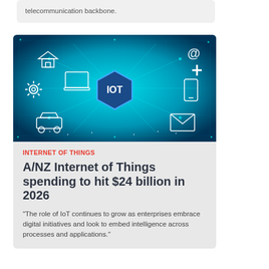telecommunication backbone.
[Figure (photo): IoT concept illustration with circuit board connections, icons for home, laptop, car, mobile phone, email, and a central hexagon labeled 'IOT' on a blue/teal background]
INTERNET OF THINGS
A/NZ Internet of Things spending to hit $24 billion in 2026
"The role of IoT continues to grow as enterprises embrace digital initiatives and look to embed intelligence across processes and applications."